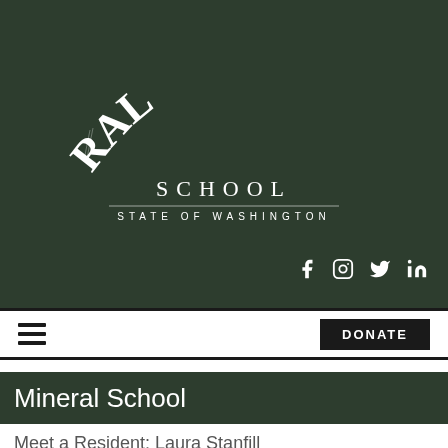[Figure (logo): Mineral School logo with hand-lettered arched text and the words SCHOOL and STATE OF WASHINGTON on a dark green chalkboard background]
Mineral School
Meet a Resident: Laura Stanfill